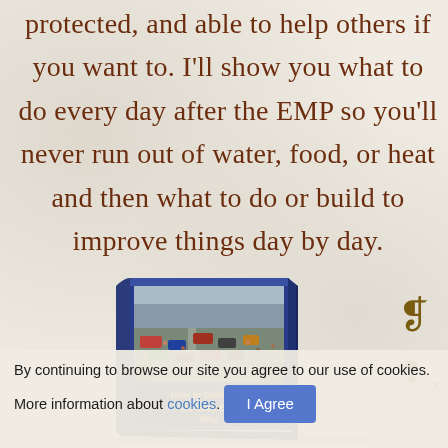protected, and able to help others if you want to. I'll show you what to do every day after the EMP so you'll never run out of water, food, or heat and then what to do or build to improve things day by day.
[Figure (illustration): A 3D book illustration showing a cover image of a congested highway with many people and stalled cars, titled 'How to Outlive an EMP the Easy Way']
By continuing to browse our site you agree to our use of cookies. More information about cookies. I Agree